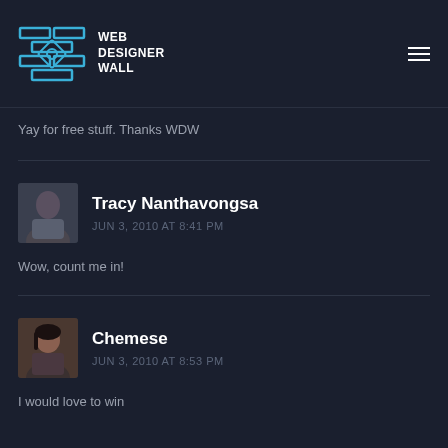WEB DESIGNER WALL
Yay for free stuff. Thanks WDW
Tracy Nanthavongsa
JUN 3, 2010 AT 8:41 PM
Wow, count me in!
Chemese
JUN 3, 2010 AT 8:53 PM
I would love to win